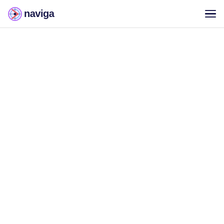naviga
[Figure (other): Empty white content area below the navigation header]